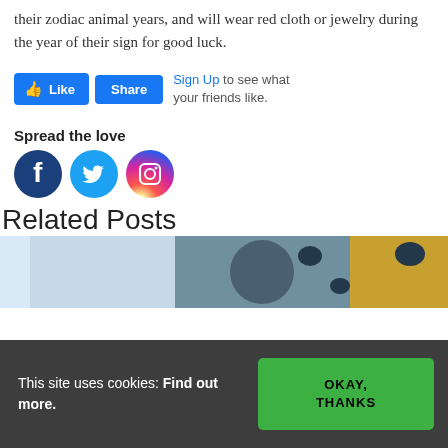their zodiac animal years, and will wear red cloth or jewelry during the year of their sign for good luck.
[Figure (screenshot): Facebook Like and Share buttons with Sign Up link]
Spread the love
[Figure (logo): Facebook, Twitter, and Instagram social media icons]
Related Posts
[Figure (photo): Related posts thumbnail image strip]
This site uses cookies: Find out more.
OKAY, THANKS